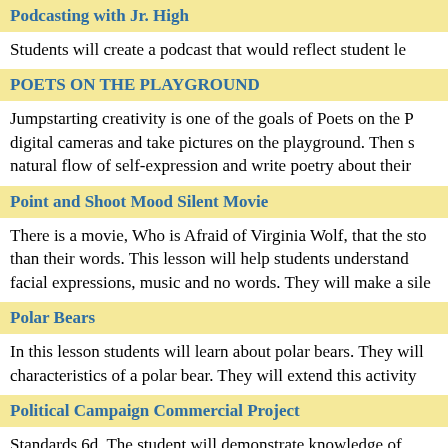Podcasting with Jr. High
Students will create a podcast that would reflect student le
POETS ON THE PLAYGROUND
Jumpstarting creativity is one of the goals of Poets on the P digital cameras and take pictures on the playground. Then s natural flow of self-expression and write poetry about their
Point and Shoot Mood Silent Movie
There is a movie, Who is Afraid of Virginia Wolf, that the sto than their words. This lesson will help students understand facial expressions, music and no words. They will make a sile
Polar Bears
In this lesson students will learn about polar bears. They will characteristics of a polar bear. They will extend this activity
Political Campaign Commercial Project
Standards 6d. The student will demonstrate knowledge of influence of mass media and campaign advertisements and